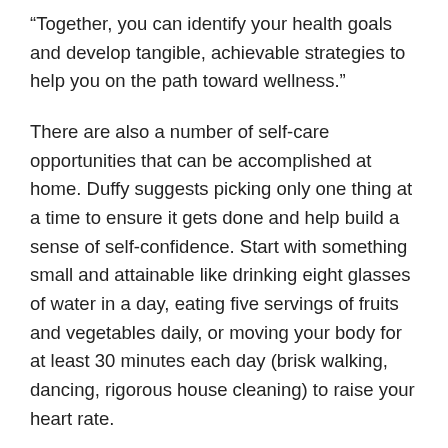“Together, you can identify your health goals and develop tangible, achievable strategies to help you on the path toward wellness.”
There are also a number of self-care opportunities that can be accomplished at home. Duffy suggests picking only one thing at a time to ensure it gets done and help build a sense of self-confidence. Start with something small and attainable like drinking eight glasses of water in a day, eating five servings of fruits and vegetables daily, or moving your body for at least 30 minutes each day (brisk walking, dancing, rigorous house cleaning) to raise your heart rate.